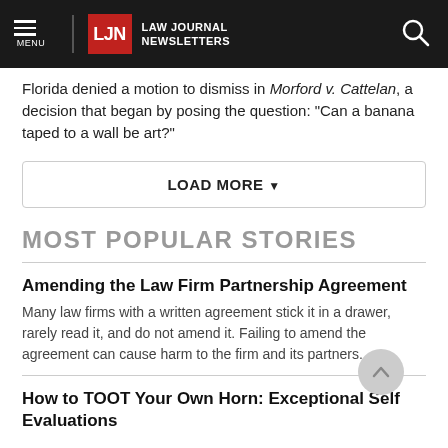LJN Law Journal Newsletters
Florida denied a motion to dismiss in Morford v. Cattelan, a decision that began by posing the question: "Can a banana taped to a wall be art?"
LOAD MORE ▼
MOST POPULAR STORIES
Amending the Law Firm Partnership Agreement
Many law firms with a written agreement stick it in a drawer, rarely read it, and do not amend it. Failing to amend the agreement can cause harm to the firm and its partners.
How to TOOT Your Own Horn: Exceptional Self Evaluations